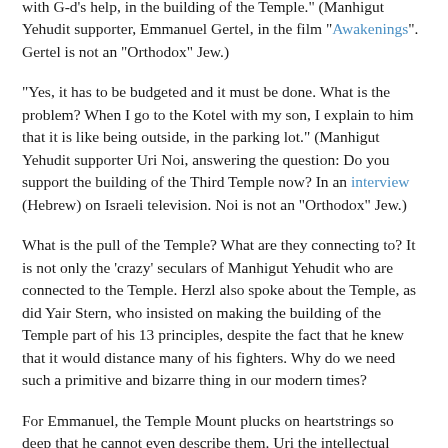with G-d's help, in the building of the Temple." (Manhigut Yehudit supporter, Emmanuel Gertel, in the film "Awakenings". Gertel is not an "Orthodox" Jew.)
"Yes, it has to be budgeted and it must be done. What is the problem? When I go to the Kotel with my son, I explain to him that it is like being outside, in the parking lot." (Manhigut Yehudit supporter Uri Noi, answering the question: Do you support the building of the Third Temple now? In an interview (Hebrew) on Israeli television. Noi is not an "Orthodox" Jew.)
What is the pull of the Temple? What are they connecting to? It is not only the 'crazy' seculars of Manhigut Yehudit who are connected to the Temple. Herzl also spoke about the Temple, as did Yair Stern, who insisted on making the building of the Temple part of his 13 principles, despite the fact that he knew that it would distance many of his fighters. Why do we need such a primitive and bizarre thing in our modern times?
For Emmanuel, the Temple Mount plucks on heartstrings so deep that he cannot even describe them. Uri the intellectual reaches the same point through the dimension of national pride; we also need a